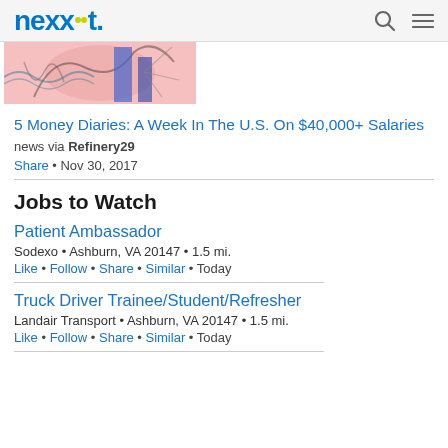nexxt
[Figure (illustration): Partial illustration image with pink background, blue and grey abstract shapes, partially cropped]
5 Money Diaries: A Week In The U.S. On $40,000+ Salaries
news via Refinery29
Share • Nov 30, 2017
Jobs to Watch
Patient Ambassador
Sodexo • Ashburn, VA 20147 • 1.5 mi.
Like • Follow • Share • Similar • Today
Truck Driver Trainee/Student/Refresher
Landair Transport • Ashburn, VA 20147 • 1.5 mi.
Like • Follow • Share • Similar • Today